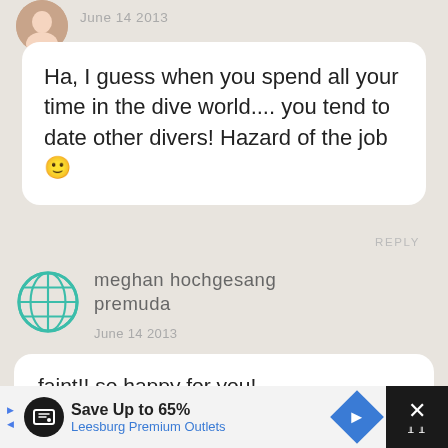June 14 2013
Ha, I guess when you spend all your time in the dive world.... you tend to date other divers! Hazard of the job 🙂
REPLY
[Figure (illustration): Globe/website icon in teal color]
meghan hochgesang premuda
June 14 2013
faint!! so happy for you!
REPLY
[Figure (infographic): Advertisement bar: Save Up to 65% Leesburg Premium Outlets]